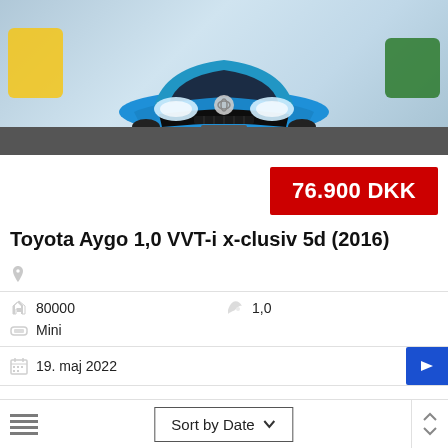[Figure (photo): Front view of a blue Toyota Aygo parked in a car dealership showroom. A yellow car is visible on the left and a green car on the right in the background.]
76.900 DKK
Toyota Aygo 1,0 VVT-i x-clusiv 5d (2016)
80000
1,0
Mini
19. maj 2022
Sort by Date